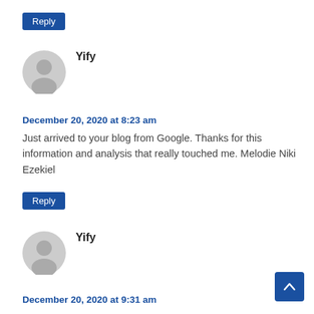Reply
[Figure (illustration): Gray circular user avatar icon]
Yify
December 20, 2020 at 8:23 am
Just arrived to your blog from Google. Thanks for this information and analysis that really touched me. Melodie Niki Ezekiel
Reply
[Figure (illustration): Gray circular user avatar icon]
Yify
December 20, 2020 at 9:31 am